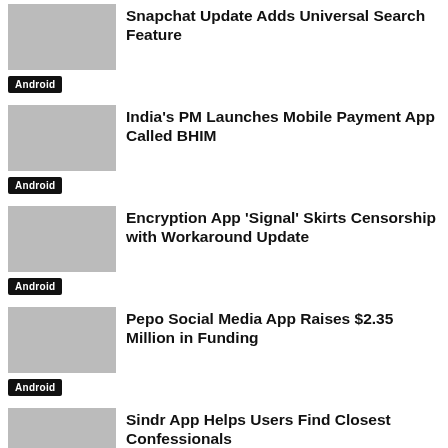Snapchat Update Adds Universal Search Feature
Android
India's PM Launches Mobile Payment App Called BHIM
Android
Encryption App 'Signal' Skirts Censorship with Workaround Update
Android
Pepo Social Media App Raises $2.35 Million in Funding
Android
Sindr App Helps Users Find Closest Confessionals
Android